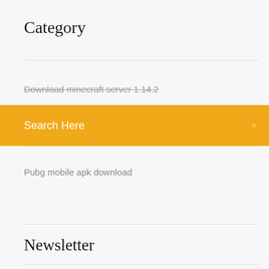Category
Download minecraft server 1.14.2
Search Here
Pubg mobile apk download
Newsletter